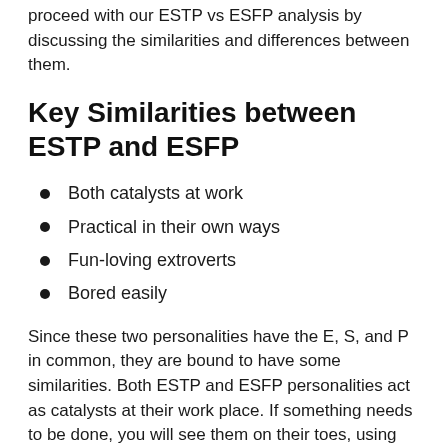proceed with our ESTP vs ESFP analysis by discussing the similarities and differences between them.
Key Similarities between ESTP and ESFP
Both catalysts at work
Practical in their own ways
Fun-loving extroverts
Bored easily
Since these two personalities have the E, S, and P in common, they are bound to have some similarities. Both ESTP and ESFP personalities act as catalysts at their work place. If something needs to be done, you will see them on their toes, using their resources to meet the goal.